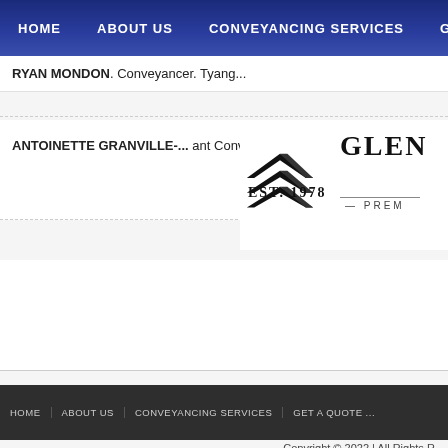HOME | ABOUT US | CONVEYANCING SERVICES | GE...
RYAN MONDON, Conveyancer. Tyang...
ANTOINETTE GRANVILLE-... ant Conveyancer...
[Figure (logo): Glen Premier conveyancing company logo with chevron house shapes and EST. 1978 text]
HOME | ABOUT US | CONVEYANCING SERVICES | GET A QUOTE ...
Copyright © 2022 | All Rights R...